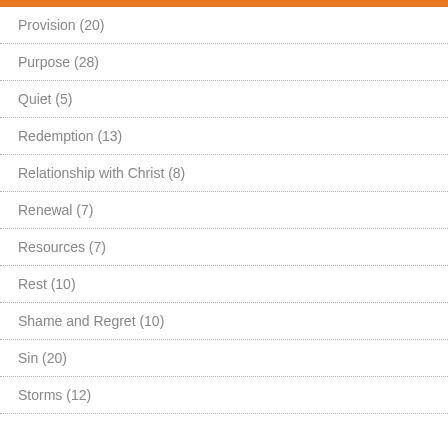Provision (20)
Purpose (28)
Quiet (5)
Redemption (13)
Relationship with Christ (8)
Renewal (7)
Resources (7)
Rest (10)
Shame and Regret (10)
Sin (20)
Storms (12)